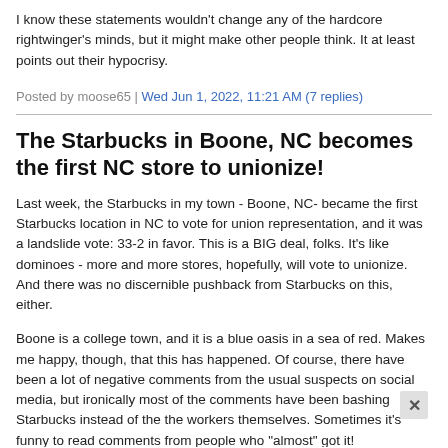I know these statements wouldn't change any of the hardcore rightwinger's minds, but it might make other people think. It at least points out their hypocrisy.
Posted by moose65 | Wed Jun 1, 2022, 11:21 AM (7 replies)
The Starbucks in Boone, NC becomes the first NC store to unionize!
Last week, the Starbucks in my town - Boone, NC- became the first Starbucks location in NC to vote for union representation, and it was a landslide vote: 33-2 in favor. This is a BIG deal, folks. It's like dominoes - more and more stores, hopefully, will vote to unionize. And there was no discernible pushback from Starbucks on this, either.
Boone is a college town, and it is a blue oasis in a sea of red. Makes me happy, though, that this has happened. Of course, there have been a lot of negative comments from the usual suspects on social media, but ironically most of the comments have been bashing Starbucks instead of the the workers themselves. Sometimes it's funny to read comments from people who "almost" got it!